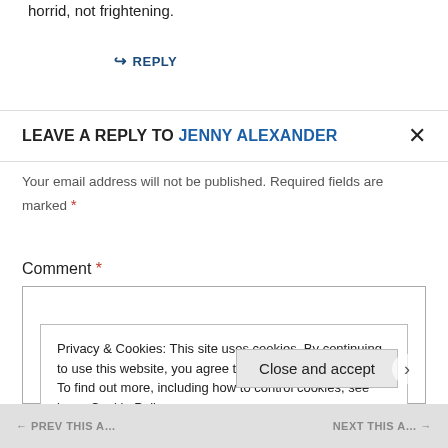horrid, not frightening.
↪ REPLY
LEAVE A REPLY TO JENNY ALEXANDER
Your email address will not be published. Required fields are marked *
Comment *
Privacy & Cookies: This site uses cookies. By continuing to use this website, you agree to their use.
To find out more, including how to control cookies, see here: Cookie Policy
Close and accept